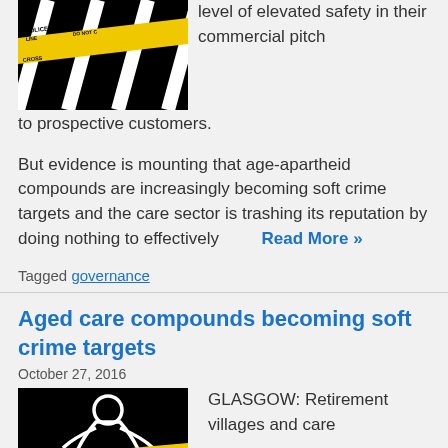[Figure (photo): Black background with yellow police tape reading POLICE LINE DO NOT CROSS]
level of elevated safety in their commercial pitch to prospective customers.
But evidence is mounting that age-apartheid compounds are increasingly becoming soft crime targets and the care sector is trashing its reputation by doing nothing to effectively
Read More »
Tagged governance
Aged care compounds becoming soft crime targets
October 27, 2016
[Figure (photo): Black background with white chalk outline of a body and yellow police tape]
GLASGOW: Retirement villages and care